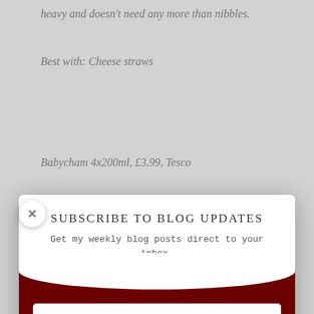heavy and doesn't need any more than nibbles.
Best with: Cheese straws
Babycham 4x200ml, £3.99, Tesco
[Figure (screenshot): Email subscription modal overlay with dark red background, showing 'Subscribe to Blog Updates' heading, subtitle 'Get my weekly blog posts direct to your inbox.', an Email input field, and a 'Sign-Up!' button. A close X button appears at top-left of modal.]